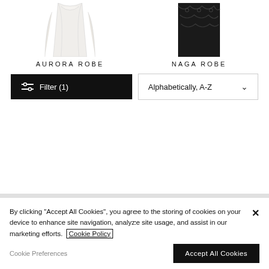[Figure (photo): White Aurora Robe garment photo, top portion visible]
[Figure (photo): Dark/black Naga Robe garment photo with lace pattern, top portion visible]
AURORA ROBE
NAGA ROBE
Filter (1)
Alphabetically, A-Z
By clicking "Accept All Cookies", you agree to the storing of cookies on your device to enhance site navigation, analyze site usage, and assist in our marketing efforts. Cookie Policy
Cookie Preferences
Accept All Cookies